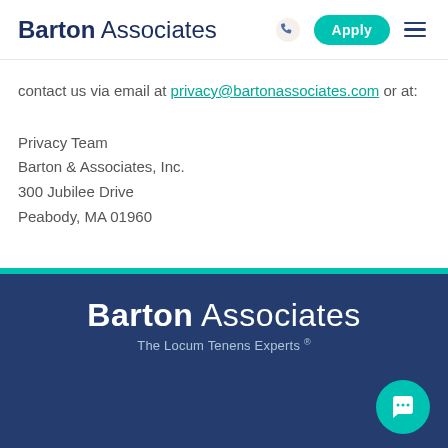Barton Associates
contact us via email at privacy@bartonassociates.com or at:
Privacy Team
Barton & Associates, Inc.
300 Jubilee Drive
Peabody, MA 01960
Barton Associates
The Locum Tenens Experts®